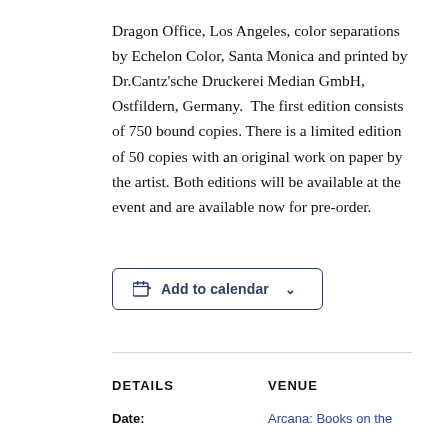Dragon Office, Los Angeles, color separations by Echelon Color, Santa Monica and printed by Dr.Cantz'sche Druckerei Median GmbH, Ostfildern, Germany.  The first edition consists of 750 bound copies. There is a limited edition of 50 copies with an original work on paper by the artist. Both editions will be available at the event and are available now for pre-order.
[Figure (other): Add to calendar button with calendar icon and dropdown chevron]
DETAILS
VENUE
Date:
Arcana: Books on the